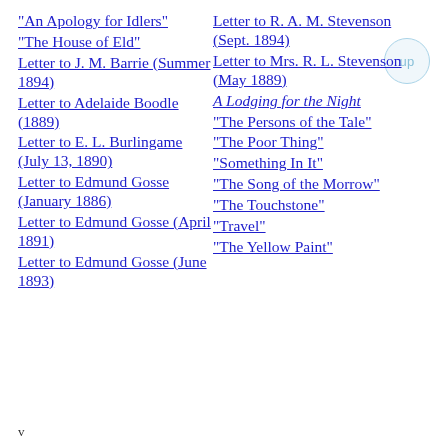"An Apology for Idlers"
"The House of Eld"
Letter to J. M. Barrie (Summer 1894)
Letter to Adelaide Boodle (1889)
Letter to E. L. Burlingame (July 13, 1890)
Letter to Edmund Gosse (January 1886)
Letter to Edmund Gosse (April 1891)
Letter to Edmund Gosse (June 1893)
Letter to R. A. M. Stevenson (Sept. 1894)
Letter to Mrs. R. L. Stevenson (May 1889)
A Lodging for the Night
"The Persons of the Tale"
"The Poor Thing"
"Something In It"
"The Song of the Morrow"
"The Touchstone"
"Travel"
"The Yellow Paint"
v